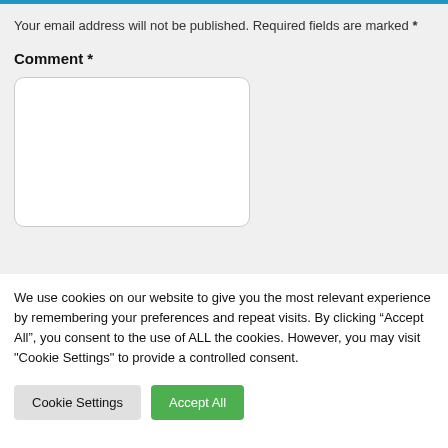Your email address will not be published. Required fields are marked *
Comment *
We use cookies on our website to give you the most relevant experience by remembering your preferences and repeat visits. By clicking “Accept All”, you consent to the use of ALL the cookies. However, you may visit "Cookie Settings" to provide a controlled consent.
Cookie Settings
Accept All